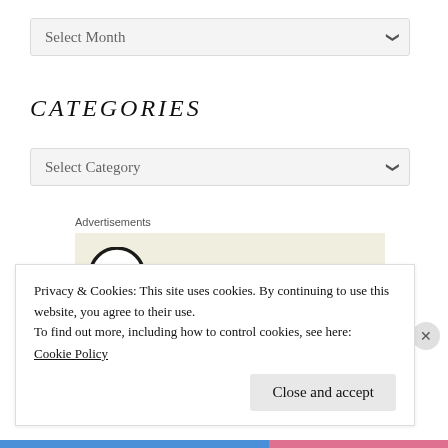[Figure (screenshot): Select Month dropdown widget with chevron arrow]
CATEGORIES
[Figure (screenshot): Select Category dropdown widget with chevron arrow]
Advertisements
[Figure (logo): WordPress logo (W in circle) on light beige advertisement block background]
Privacy & Cookies: This site uses cookies. By continuing to use this website, you agree to their use.
To find out more, including how to control cookies, see here:
Cookie Policy
Close and accept